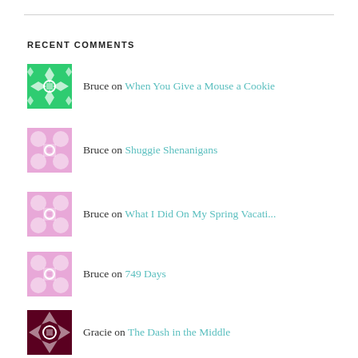RECENT COMMENTS
Bruce on When You Give a Mouse a Cookie
Bruce on Shuggie Shenanigans
Bruce on What I Did On My Spring Vacati...
Bruce on 749 Days
Gracie on The Dash in the Middle
ARCHIVES